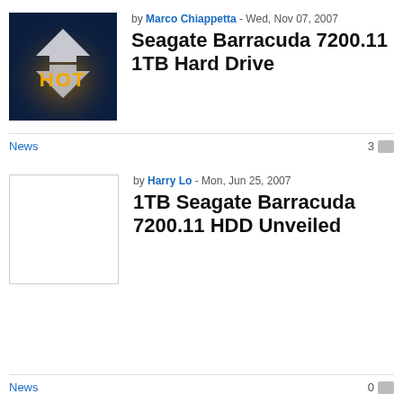[Figure (photo): HOT badge logo — dark navy background with silver chevron/arrow shape and golden 'HOT' text]
by Marco Chiappetta - Wed, Nov 07, 2007
Seagate Barracuda 7200.11 1TB Hard Drive
News
3
[Figure (photo): Blank white thumbnail with grey border]
by Harry Lo - Mon, Jun 25, 2007
1TB Seagate Barracuda 7200.11 HDD Unveiled
News
0